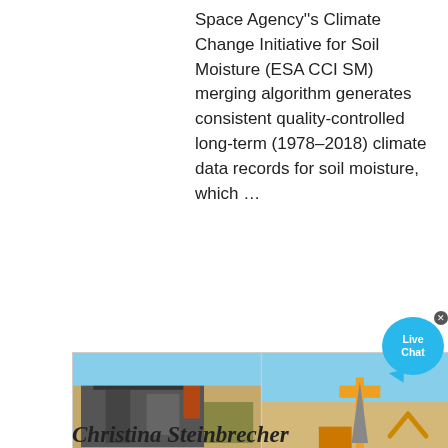Space Agency"s Climate Change Initiative for Soil Moisture (ESA CCI SM) merging algorithm generates consistent quality-controlled long-term (1978–2018) climate data records for soil moisture, which …
[Figure (photo): Four-panel photo collage showing heavy industrial/mining machinery: top-left shows large mobile crusher/screening plant on sandy ground; top-right shows drilling or mining equipment in arid desert landscape; bottom-left shows orange cylindrical industrial drum/mill with workers standing nearby; bottom-right shows worn industrial cylinder or drum component with metal hardware.]
Christina Steinbrecher